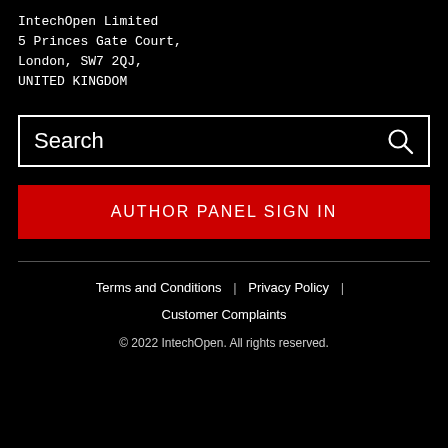IntechOpen Limited
5 Princes Gate Court,
London, SW7 2QJ,
UNITED KINGDOM
[Figure (other): Search input box with magnifying glass icon]
AUTHOR PANEL SIGN IN
Terms and Conditions | Privacy Policy |
Customer Complaints
© 2022 IntechOpen. All rights reserved.